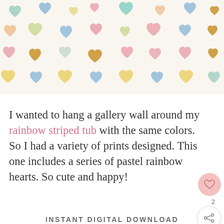[Figure (illustration): A pattern of pastel rainbow hearts in various colors (mint, blue, pink, yellow, peach, mauve, gold) arranged in a grid on a cream background.]
I wanted to hang a gallery wall around my rainbow striped tub with the same colors. So I had a variety of prints designed. This one includes a series of pastel rainbow hearts. So cute and happy!
INSTANT DIGITAL DOWNLOAD